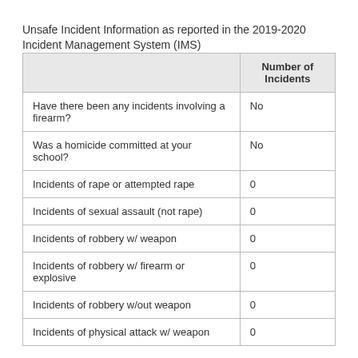Unsafe Incident Information as reported in the 2019-2020 Incident Management System (IMS)
|  | Number of Incidents |
| --- | --- |
| Have there been any incidents involving a firearm? | No |
| Was a homicide committed at your school? | No |
| Incidents of rape or attempted rape | 0 |
| Incidents of sexual assault (not rape) | 0 |
| Incidents of robbery w/ weapon | 0 |
| Incidents of robbery w/ firearm or explosive | 0 |
| Incidents of robbery w/out weapon | 0 |
| Incidents of physical attack w/ weapon | 0 |